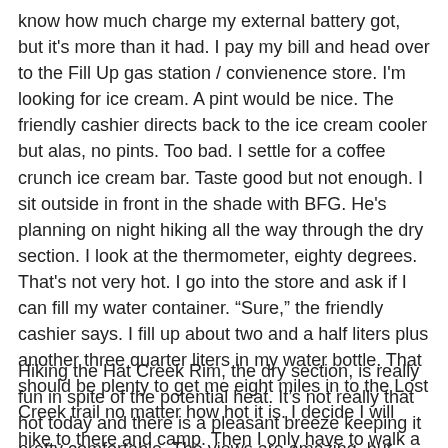know how much charge my external battery got, but it's more than it had. I pay my bill and head over to the Fill Up gas station / convienence store. I'm looking for ice cream. A pint would be nice. The friendly cashier directs back to the ice cream cooler but alas, no pints. Too bad. I settle for a coffee crunch ice cream bar. Taste good but not enough. I sit outside in front in the shade with BFG. He's planning on night hiking all the way through the dry section. I look at the thermometer, eighty degrees. That's not very hot. I go into the store and ask if I can fill my water container. “Sure,” the friendly cashier says. I fill up about two and a half liters plus another three quarter liters in my water bottle. That should be plenty to get me eight miles in to the Lost Creek trail no matter how hot it is. I decide I will hike to there and camp. Then I only have to walk a twenty one mile dry section tomorrow. If I do that in the morning I can do it on two liters of water like I did today.
Hiking the Hat Creek Rim, the dry section, is really fun in spite of the potential heat. It’s not really that hot today and there is a pleasant breeze keeping it pretty comfortable. The views are amazing, but dangerous. The trail is really rocky